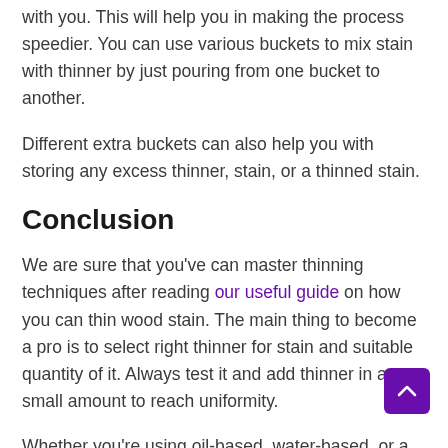with you. This will help you in making the process speedier. You can use various buckets to mix stain with thinner by just pouring from one bucket to another.
Different extra buckets can also help you with storing any excess thinner, stain, or a thinned stain.
Conclusion
We are sure that you've can master thinning techniques after reading our useful guide on how you can thin wood stain. The main thing to become a pro is to select right thinner for stain and suitable quantity of it. Always test it and add thinner in a small amount to reach uniformity.
Whether you're using oil-based, water-based, or a